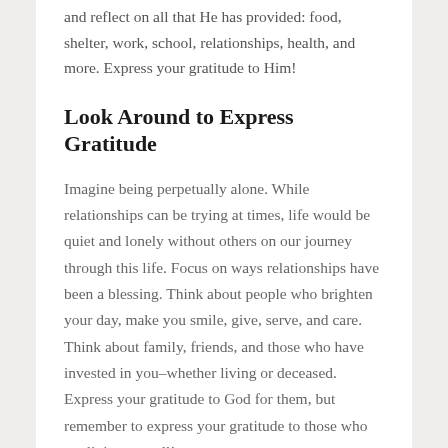and reflect on all that He has provided: food, shelter, work, school, relationships, health, and more. Express your gratitude to Him!
Look Around to Express Gratitude
Imagine being perpetually alone. While relationships can be trying at times, life would be quiet and lonely without others on our journey through this life. Focus on ways relationships have been a blessing. Think about people who brighten your day, make you smile, give, serve, and care. Think about family, friends, and those who have invested in you–whether living or deceased. Express your gratitude to God for them, but remember to express your gratitude to those who are living as well!